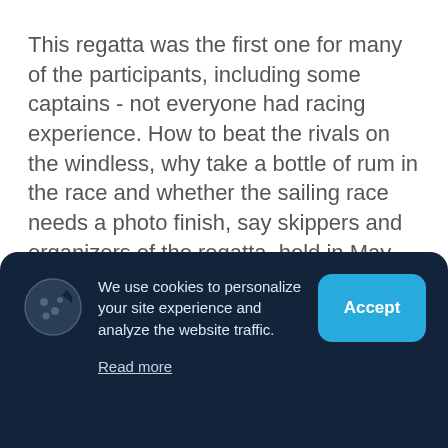This regatta was the first one for many of the participants, including some captains - not everyone had racing experience. How to beat the rivals on the windless, why take a bottle of rum in the race and whether the sailing race needs a photo finish, say skippers and organizers of the regatta, held in May under the flags of Sails Up! and Breeze Club.
Vladislava, captain of the «Sea Tigers and Tigresses»team, Anegada Yacht
We use cookies to personalize your site experience and analyze the website traffic.
Read more